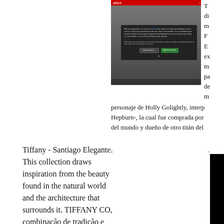[Figure (screenshot): Screenshot of a website (hola.com or similar) with a cookie consent overlay dialog showing 'LEARN MORE' and 'Agree and close' buttons on a dark background, with a red header bar at the top.]
T... di... m... F... E... ex... m... pa... de... m... personaje de Holly Golightly, interp... Hepburn-, la cual fue comprada por... del mundo y dueño de otro titán del...
Tiffany - Santiago Elegante. This collection draws inspiration from the beauty found in the natural world and the architecture that surrounds it. TIFFANY CO, combinação de tradição e inovação, é a casa de joias fundada em New York em
[Figure (photo): Black image panel on the right side of the lower section.]